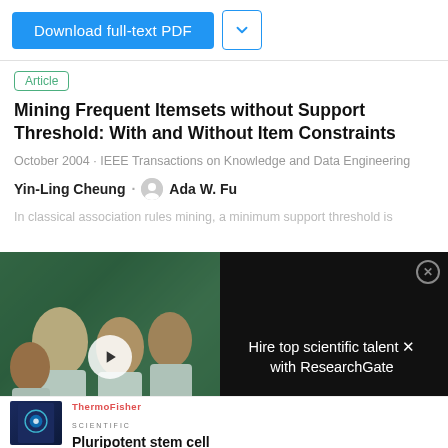[Figure (screenshot): Download full-text PDF button (blue) and dropdown arrow button]
Article
Mining Frequent Itemsets without Support Threshold: With and Without Item Constraints
October 2004 · IEEE Transactions on Knowledge and Data Engineering
Yin-Ling Cheung · Ada W. Fu
In classical association rules mining, a minimum support threshold is
[Figure (photo): Video thumbnail showing scientists in lab coats in a laboratory selfie, overlaid with text 'HIRE TOP SCIENTIFIC TALENT WITH RESEARCHGATE' and a play button. Right side shows 'Hire top scientific talent with ResearchGate' text on dark background with close button.]
[Figure (other): ThermoFisher Scientific advertisement: Pluripotent stem cell resource handbook cover image on left, ThermoFisher Scientific logo and 'Pluripotent stem cell' text on right]